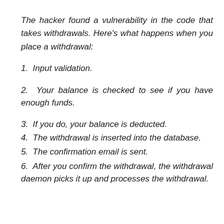The hacker found a vulnerability in the code that takes withdrawals. Here's what happens when you place a withdrawal:
1. Input validation.
2. Your balance is checked to see if you have enough funds.
3. If you do, your balance is deducted.
4. The withdrawal is inserted into the database.
5. The confirmation email is sent.
6. After you confirm the withdrawal, the withdrawal daemon picks it up and processes the withdrawal.